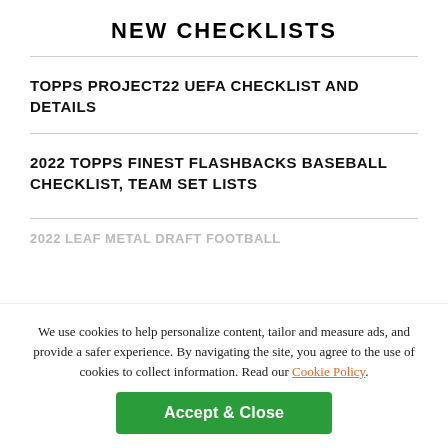NEW CHECKLISTS
TOPPS PROJECT22 UEFA CHECKLIST AND DETAILS
2022 TOPPS FINEST FLASHBACKS BASEBALL CHECKLIST, TEAM SET LISTS
2022 LEAF METAL DRAFT FOOTBALL
We use cookies to help personalize content, tailor and measure ads, and provide a safer experience. By navigating the site, you agree to the use of cookies to collect information. Read our Cookie Policy.
Accept & Close